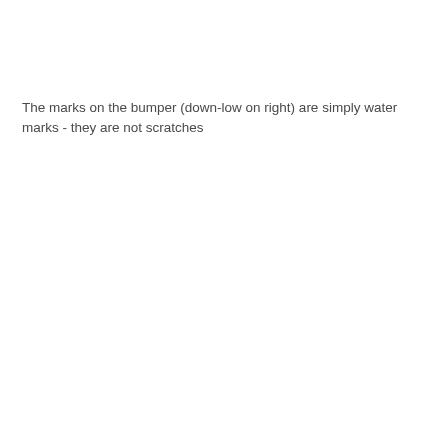The marks on the bumper (down-low on right) are simply water marks - they are not scratches